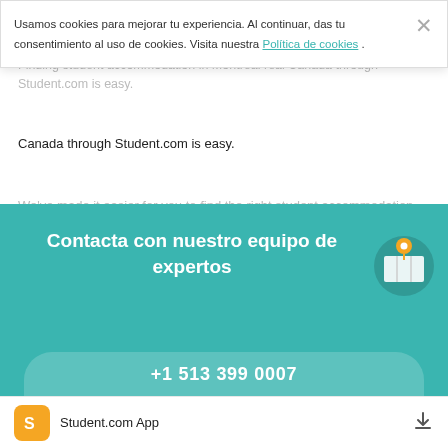Student accommodation Montreal
Finding student accommodation in Montreal real Canada through Student.com is easy.
We've made it easier for you to find the right student accommodation for your budget with our search feature that
Usamos cookies para mejorar tu experiencia. Al continuar, das tu consentimiento al uso de cookies. Visita nuestra Política de cookies .
Ver más
Contacta con nuestro equipo de expertos
+1 513 399 0007
Student.com App